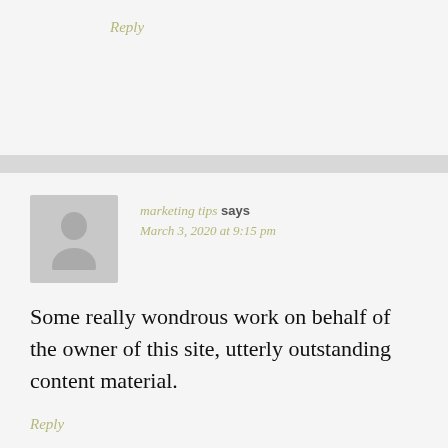Reply
marketing tips says
March 3, 2020 at 9:15 pm
Some really wondrous work on behalf of the owner of this site, utterly outstanding content material.
Reply